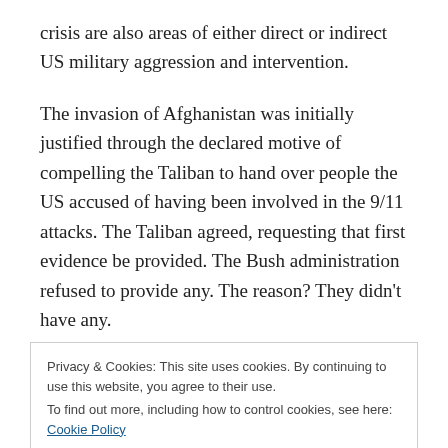crisis are also areas of either direct or indirect US military aggression and intervention.
The invasion of Afghanistan was initially justified through the declared motive of compelling the Taliban to hand over people the US accused of having been involved in the 9/11 attacks. The Taliban agreed, requesting that first evidence be provided. The Bush administration refused to provide any. The reason? They didn't have any.
Privacy & Cookies: This site uses cookies. By continuing to use this website, you agree to their use.
To find out more, including how to control cookies, see here: Cookie Policy
Close and accept
charged bin Laden with involvement in 9/11. Rex Tomb,